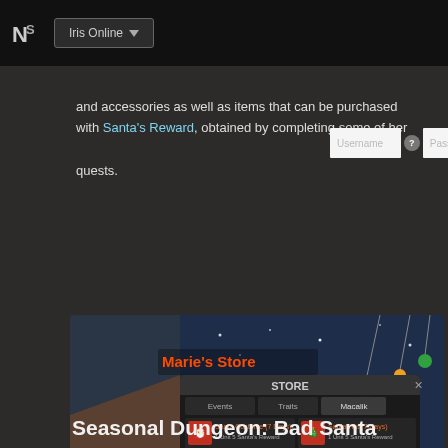Iris Online
and accessories as well as items that can be purchased with Santa's Reward, obtained by completing some of her quests.
[Figure (screenshot): Screenshot of Marie's Store in-game UI showing the STORE window with Events/Traits/Macalik tabs. Items listed: Santa Costume (7 Days) - 1 Unit 5 Santa's Reward; Santa Hat (7 Days) - 1 Unit 5 Santa's Reward; Thousand Year Old Reindeer - 1 Unit 8 Santa's Reward; Symbol of the Christmas Savior - 1 Unit 1 Santa's Reward. Right side shows a character in holiday outfit.]
Seasonal Dungeon: Bad Santa